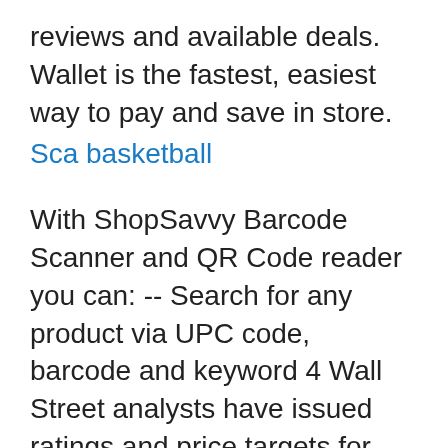reviews and available deals. Wallet is the fastest, easiest way to pay and save in store.
Sca basketball
With ShopSavvy Barcode Scanner and QR Code reader you can: -- Search for any product via UPC code, barcode and keyword 4 Wall Street analysts have issued ratings and price targets for RADA Electronic Industries in the last 12 months. Their average twelve-month price target is $17.00, predicting that the stock has a possible upside of 20.31%. The high price target for RADA is $19.00 and the low price target for RADA is $16.00. NEW: TargetScan 2.0 has been released! Visit: https://www.youtube.com/watch?v=DBD3mDojs2cDemo of the TargetScan 1.0 App on iPhone which scans ISSF 10m Air Pi You